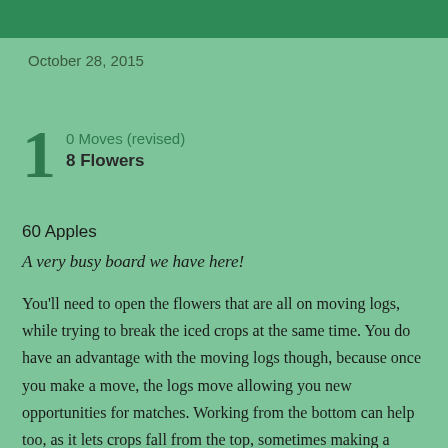October 28, 2015
1  0 Moves (revised)  8 Flowers
60 Apples
A very busy board we have here!
You'll need to open the flowers that are all on moving logs, while trying to break the iced crops at the same time. You do have an advantage with the moving logs though, because once you make a move, the logs move allowing you new opportunities for matches. Working from the bottom can help too, as it lets crops fall from the top, sometimes making a match for us.